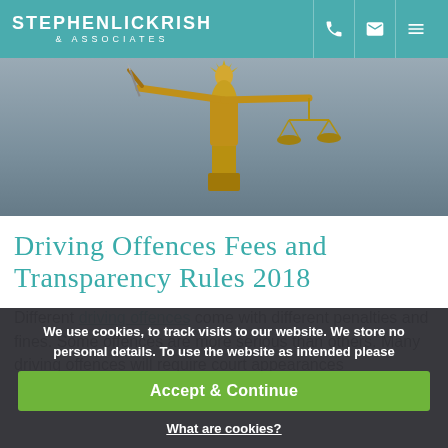STEPHENLICKRISH & ASSOCIATES
[Figure (photo): Gold Lady Justice statue holding scales and sword against grey sky background]
Driving Offences Fees and Transparency Rules 2018
Different driving offences come with different penalties and fines. Some offences are more serious than others. Many driving offences will require court appearances
We use cookies, to track visits to our website. We store no personal details. To use the website as intended please
Accept & Continue
What are cookies?
FUNDING DRIVING OFFENCE MATTERS